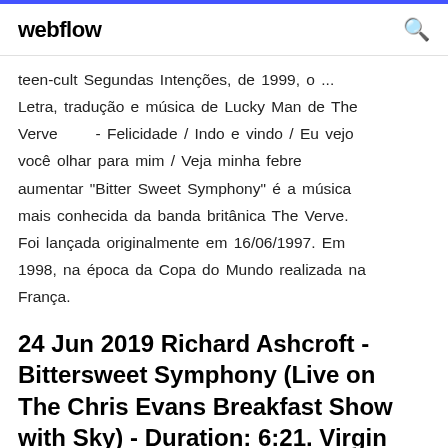webflow
teen-cult Segundas Intenções, de 1999, o ... Letra, tradução e música de Lucky Man de The Verve      - Felicidade / Indo e vindo / Eu vejo você olhar para mim / Veja minha febre aumentar "Bitter Sweet Symphony" é a música mais conhecida da banda britânica The Verve. Foi lançada originalmente em 16/06/1997. Em 1998, na época da Copa do Mundo realizada na França.
24 Jun 2019 Richard Ashcroft - Bittersweet Symphony (Live on The Chris Evans Breakfast Show with Sky) - Duration: 6:21. Virgin